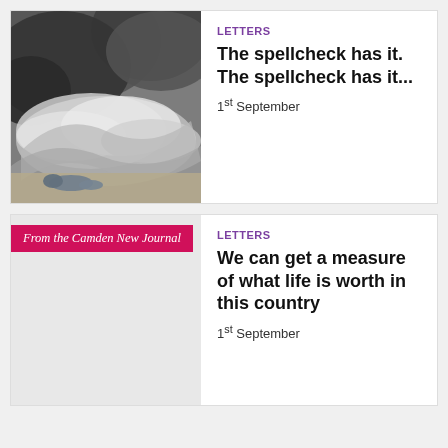[Figure (illustration): Dramatic painting of waves crashing with a figure lying at the bottom]
LETTERS
The spellcheck has it. The spellcheck has it...
1st September
From the Camden New Journal
LETTERS
We can get a measure of what life is worth in this country
1st September